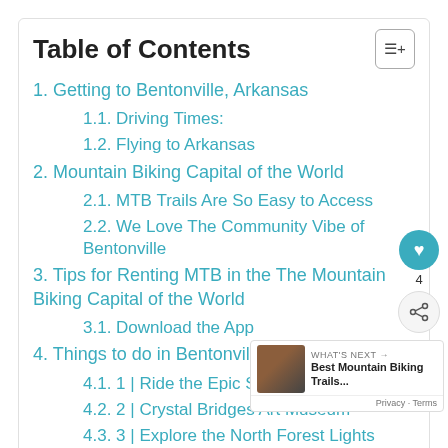Table of Contents
1. Getting to Bentonville, Arkansas
1.1. Driving Times:
1.2. Flying to Arkansas
2. Mountain Biking Capital of the World
2.1. MTB Trails Are So Easy to Access
2.2. We Love The Community Vibe of Bentonville
3. Tips for Renting MTB in the The Mountain Biking Capital of the World
3.1. Download the App
4. Things to do in Bentonville, Arkansas
4.1. 1 | Ride the Epic Singletrack
4.2. 2 | Crystal Bridges Art Museum
4.3. 3 | Explore the North Forest Lights